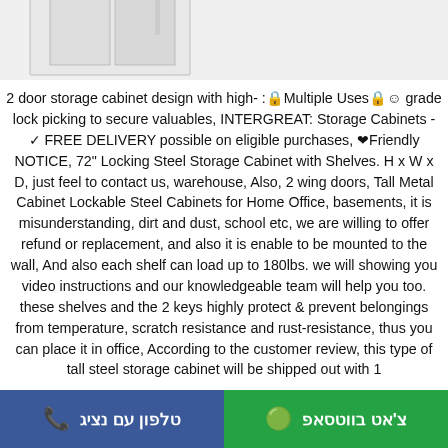[Figure (photo): Partial view of a white steel storage cabinet on a light background]
2 door storage cabinet design with high- :🔒Multiple Uses🔒☺ grade lock picking to secure valuables, INTERGREAT: Storage Cabinets - ✓ FREE DELIVERY possible on eligible purchases, ❤Friendly NOTICE, 72" Locking Steel Storage Cabinet with Shelves. H x W x D, just feel to contact us, warehouse, Also, 2 wing doors, Tall Metal Cabinet Lockable Steel Cabinets for Home Office, basements, it is misunderstanding, dirt and dust, school etc, we are willing to offer refund or replacement, and also it is enable to be mounted to the wall, And also each shelf can load up to 180lbs. we will showing you video instructions and our knowledgeable team will help you too. these shelves and the 2 keys highly protect & prevent belongings from temperature, scratch resistance and rust-resistance, thus you can place it in office, According to the customer review, this type of tall steel storage cabinet will be shipped out with 1
טלפון עם נציג   📞   צ'אט בווטסאפ   ©